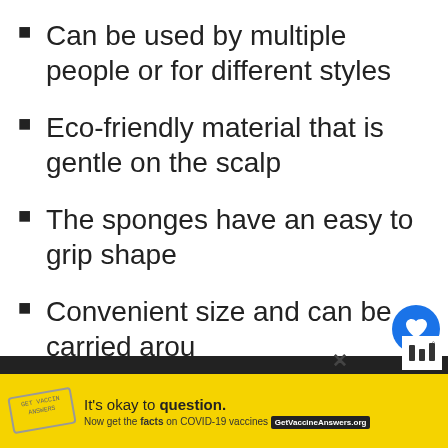Can be used by multiple people or for different styles
Eco-friendly material that is gentle on the scalp
The sponges have an easy to grip shape
Convenient size and can be carried arou
[Figure (screenshot): UI overlay with heart/like button (blue circle with heart icon), count '1', and share button (white circle with share icon)]
[Figure (screenshot): What's Next widget showing a person thumbnail and text 'WHAT'S NEXT → 4 Best Root Lifter For Fi...']
[Figure (screenshot): Yellow advertisement banner: stamp graphic, 'It is okay to question.' and 'Now get the facts on COVID-19 vaccines GetVaccineAnswers.org']